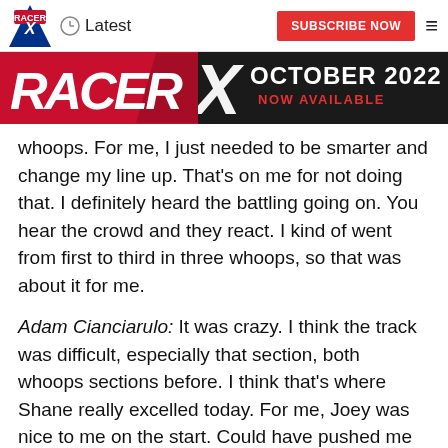Latest | SUBSCRIBE NOW
[Figure (logo): Racer X October 2022 Now Available banner advertisement]
whoops. For me, I just needed to be smarter and change my line up. That’s on me for not doing that. I definitely heard the battling going on. You hear the crowd and they react. I kind of went from first to third in three whoops, so that was about it for me.
Adam Cianciarulo: It was crazy. I think the track was difficult, especially that section, both whoops sections before. I think that’s where Shane really excelled today. For me, Joey was nice to me on the start. Could have pushed me into the Tuff Blocks, so thanks for that. So we got through. He actually slid out right away and we kind of got into each other. Then Aaron [Plessinger] got by me and then probably got back in